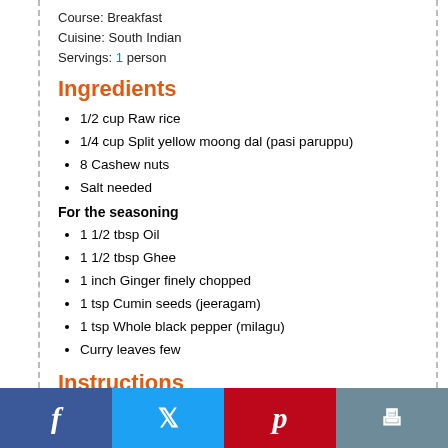Course: Breakfast
Cuisine: South Indian
Servings: 1 person
Ingredients
1/2 cup Raw rice
1/4 cup Split yellow moong dal (pasi paruppu)
8 Cashew nuts
Salt needed
For the seasoning
1 1/2 tbsp Oil
1 1/2 tbsp Ghee
1 inch Ginger finely chopped
1 tsp Cumin seeds (jeeragam)
1 tsp Whole black pepper (milagu)
Curry leaves few
Instructions
Dry roast moong dal and rice separately until it is hot to touch. Do not over fry it.